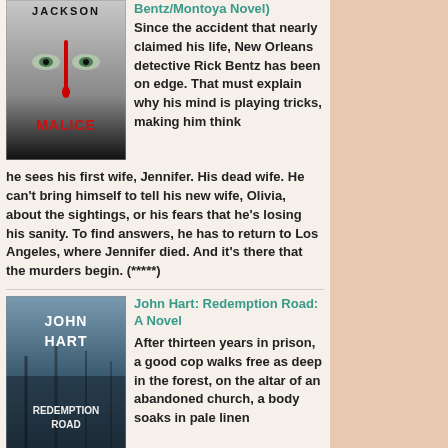[Figure (photo): Book cover of 'Malice' by Lisa Jackson — dark cover with a woman's face, eyes visible, red drips, author name at top]
Bentz/Montoya Novel) Since the accident that nearly claimed his life, New Orleans detective Rick Bentz has been on edge. That must explain why his mind is playing tricks, making him think he sees his first wife, Jennifer. His dead wife. He can't bring himself to tell his new wife, Olivia, about the sightings, or his fears that he's losing his sanity. To find answers, he has to return to Los Angeles, where Jennifer died. And it's there that the murders begin. (*****)
[Figure (photo): Book cover of 'Redemption Road: A Novel' by John Hart — dark atmospheric cover with author name and title]
John Hart: Redemption Road: A Novel After thirteen years in prison, a good cop walks free as deep in the forest, on the altar of an abandoned church, a body soaks in pale linen